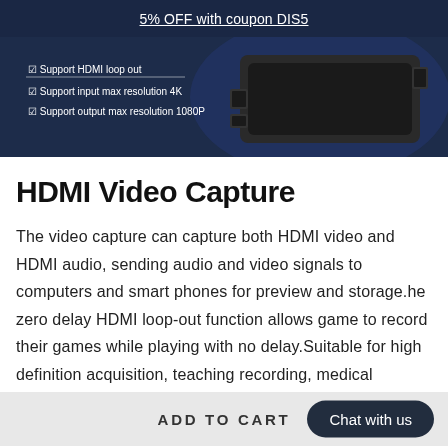5% OFF with coupon DIS5
[Figure (photo): Product image of HDMI Video Capture device on dark blue background with text: Support HDMI loop out, Support input max resolution 4K, Support output max resolution 1080P]
HDMI Video Capture
The video capture can capture both HDMI video and HDMI audio, sending audio and video signals to computers and smart phones for preview and storage.he zero delay HDMI loop-out function allows game to record their games while playing with no delay.Suitable for high definition acquisition, teaching recording, medical
ADD TO CART
It is easy to carry, have a superior performance,superior